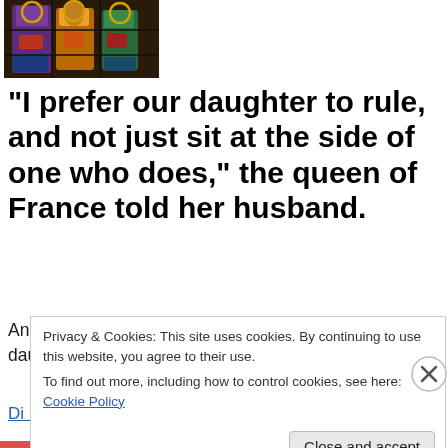[Figure (photo): Stained glass artwork showing medieval figures in colorful robes]
“I prefer our daughter to rule, and not just sit at the side of one who does,” the queen of France told her husband.
Anne and Louis’ greatest conflict? Deciding who their daughter should marry.
Privacy & Cookies: This site uses cookies. By continuing to use this website, you agree to their use.
To find out more, including how to control cookies, see here: Cookie Policy
Close and accept